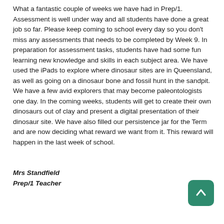What a fantastic couple of weeks we have had in Prep/1. Assessment is well under way and all students have done a great job so far. Please keep coming to school every day so you don't miss any assessments that needs to be completed by Week 9. In preparation for assessment tasks, students have had some fun learning new knowledge and skills in each subject area. We have used the iPads to explore where dinosaur sites are in Queensland, as well as going on a dinosaur bone and fossil hunt in the sandpit. We have a few avid explorers that may become paleontologists one day. In the coming weeks, students will get to create their own dinosaurs out of clay and present a digital presentation of their dinosaur site. We have also filled our persistence jar for the Term and are now deciding what reward we want from it. This reward will happen in the last week of school.
Mrs Standfield
Prep/1 Teacher